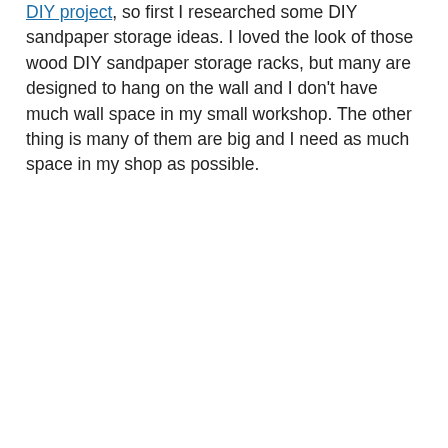DIY project, so first I researched some DIY sandpaper storage ideas. I loved the look of those wood DIY sandpaper storage racks, but many are designed to hang on the wall and I don't have much wall space in my small workshop. The other thing is many of them are big and I need as much space in my shop as possible.